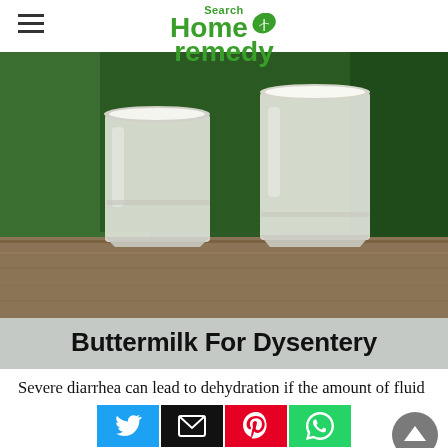Search Home remedy
[Figure (photo): Two tall glasses of buttermilk/milk on a wooden surface with green background]
Buttermilk For Dysentery
Severe diarrhea can lead to dehydration if the amount of fluid lost in the stool is not replaced instantly. Churn some homemade curd till the butter separates from